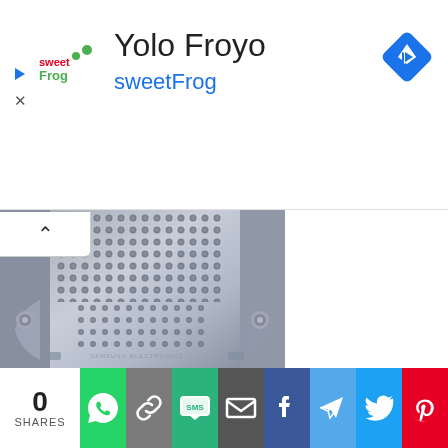[Figure (screenshot): Mobile web page screenshot showing an advertisement for 'Yolo Froyo' by sweetFrog with the sweetFrog logo, a Google Maps navigation diamond icon, and below it a cropped photo of a metallic appliance drum interior with perforated dots. At the bottom is a social sharing bar showing 0 SHARES with WhatsApp, link, SMS, email, Facebook, Telegram, Twitter/X, and Pinterest share buttons.]